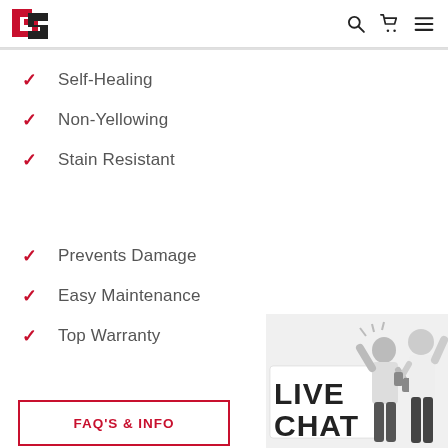GS logo with search, cart, and menu icons
Self-Healing
Non-Yellowing
Stain Resistant
Prevents Damage
Easy Maintenance
Top Warranty
[Figure (illustration): Live Chat promotional image with two excited people and bold text reading LIVE CHAT]
FAQ'S & INFO